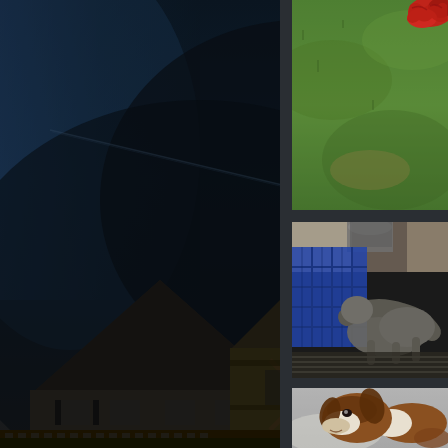[Figure (photo): Dark nighttime or dusk photo of traditional German half-timbered buildings (Fachwerk) with pointed rooftops against a dark blue-black cloudy sky. A faint contrail or light streak visible in the upper portion.]
[Figure (photo): Green grass lawn with a small red object (appears to be a piece of clothing or toy) lying on it.]
[Figure (photo): Indoor photo showing a dog (appears to be a grey/silver greyhound or whippet) standing on a bed or couch near a person wearing a blue plaid shirt. The room is dimly lit.]
[Figure (photo): Close-up photo of a dog (appears to be a beagle or similar breed, brown and white) lying on a grey carpet, looking at the camera.]